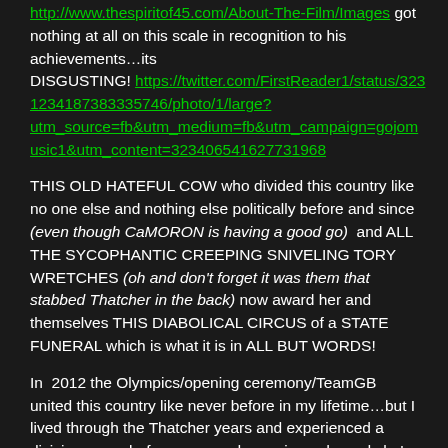http://www.thespiritof45.com/About-The-Film/Images got nothing at all on this scale in recognition to his achievements…its DISGUSTING! https://twitter.com/FirstReader1/status/3231234187383357 46/photo/1/large?utm_source=fb&utm_medium=fb&utm_campaign=gojom usic1&utm_content=323406541627731968

THIS OLD HATEFUL COW who divided this country like no one else and nothing else politically before and since (even though CaMORON is having a good go) and ALL THE SYCOPHANTIC CREEPING SNIVELING TORY WRETCHES (oh and don't forget it was them that stabbed Thatcher in the back) now award her and themselves THIS DIABOLICAL CIRCUS of a STATE FUNERAL which is what it is in ALL BUT WORDS!

In 2012 the Olympics/opening ceremony/TeamGB united this country like never before in my lifetime…but I lived through the Thatcher years and experienced a division never before seen and experienced…and she's doing the same in death thanks to those Tory bastards we have in